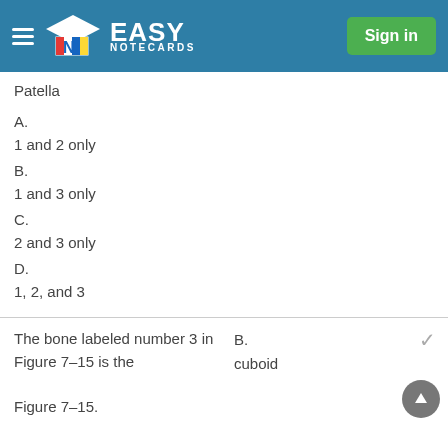EASY NOTECARDS — Sign in
Patella
A.
1 and 2 only
B.
1 and 3 only
C.
2 and 3 only
D.
1, 2, and 3
The bone labeled number 3 in Figure 7–15 is the
B.
cuboid
Figure 7–15.